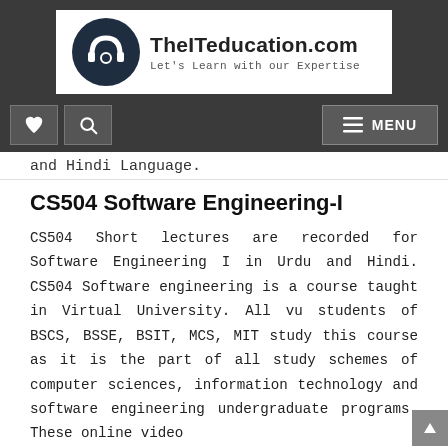[Figure (logo): TheITeducation.com logo with circular icon and tagline 'Let's Learn with our Expertise']
TheITeducation.com | Let's Learn with our Expertise | Navigation bar with heart, search, and MENU buttons
and Hindi Language.
CS504 Software Engineering-I
CS504 Short lectures are recorded for Software Engineering I in Urdu and Hindi. CS504 Software engineering is a course taught in Virtual University. All vu students of BSCS, BSSE, BSIT, MCS, MIT study this course as it is the part of all study schemes of computer sciences, information technology and software engineering undergraduate programs. These online video